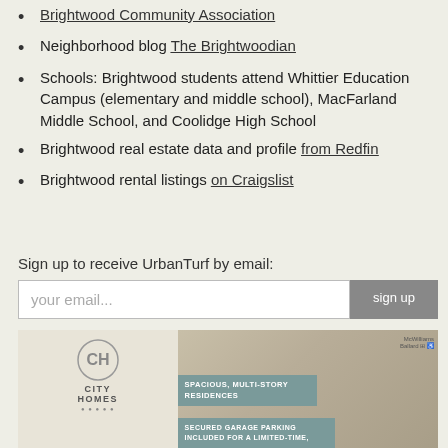Brightwood Community Association
Neighborhood blog The Brightwoodian
Schools: Brightwood students attend Whittier Education Campus (elementary and middle school), MacFarland Middle School, and Coolidge High School
Brightwood real estate data and profile from Redfin
Brightwood rental listings on Craigslist
Sign up to receive UrbanTurf by email:
[Figure (infographic): City Homes advertisement featuring a logo with a stylized CH, text 'CITY HOMES', a photo of someone walking up stairs, McWilliams Ballard branding, and two teal banners reading 'SPACIOUS, MULTI-STORY RESIDENCES' and 'SECURED GARAGE PARKING INCLUDED FOR A LIMITED-TIME,']